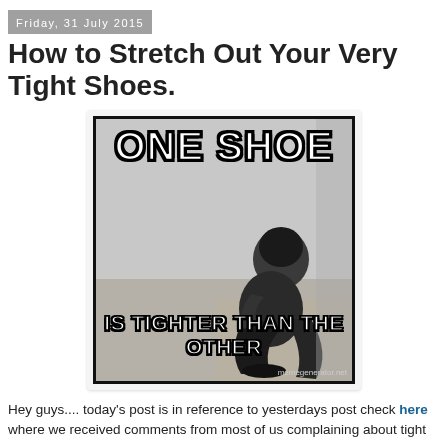Friday, 31 July 2015
How to Stretch Out Your Very Tight Shoes.
[Figure (illustration): A meme image with text 'ONE SHOE IS TIGHTER THAN THE OTHER' overlaid on a black and white photo of a person sitting on the floor hugging their knees, with watermark 'memegenerator.net']
Hey guys.... today's post is in reference to yesterdays post check here where we received comments from most of us complaining about tight